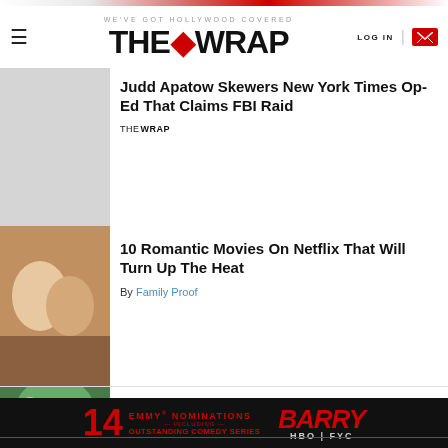WE'VE GOT HOLLYWOOD COVERED | THE WRAP | LOG IN
Judd Apatow Skewers New York Times Op-Ed That Claims FBI Raid
THE WRAP
10 Romantic Movies On Netflix That Will Turn Up The Heat
By Family Proof
Anne Heche Confirmed Legally Dead
By Access
[Figure (advertisement): BARRY HBO FYC ad with 14 Emmy Nominations Including Outstanding Comedy Series]